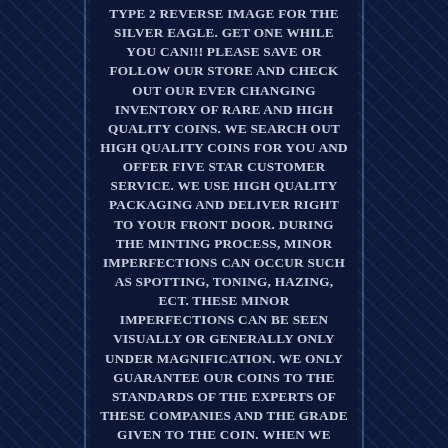TYPE 2 REVERSE IMAGE FOR THE SILVER EAGLE. GET ONE WHILE YOU CAN!!! PLEASE SAVE OR FOLLOW OUR STORE AND CHECK OUT OUR EVER CHANGING INVENTORY OF RARE AND HIGH QUALITY COINS. WE SEARCH OUT HIGH QUALITY COINS FOR YOU AND OFFER FIVE STAR CUSTOMER SERVICE. WE USE HIGH QUALITY PACKAGING AND DELIVER RIGHT TO YOUR FRONT DOOR. DURING THE MINTING PROCESS, MINOR IMPERFECTIONS CAN OCCUR SUCH AS SPOTTING, TONING, HAZING, ECT. THESE MINOR IMPERFECTIONS CAN BE SEEN VISUALLY OR GENERALLY ONLY UNDER MAGNIFICATION. WE ONLY GUARANTEE OUR COINS TO THE STANDARDS OF THE EXPERTS OF THESE COMPANIES AND THE GRADE GIVEN TO THE COIN. WHEN WE HAVE MULTIPLES OF THE SAME COIN, WE USE A STOCK PHOTO SIMILAR TO THE LARGER COIN DEALERS. PLEASE USE THE GALLERY PLUS ZOOM FEATURE, AT AN